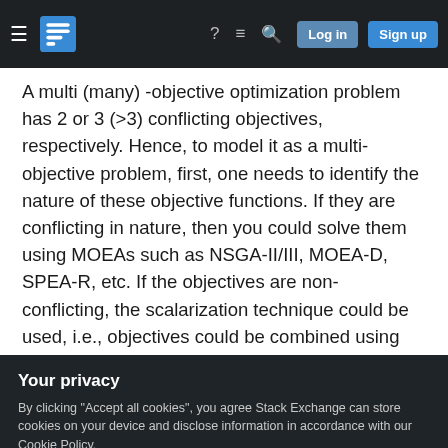Stack Exchange navigation bar with hamburger, logo, help, chat, search, Log in, Sign up
A multi (many) -objective optimization problem has 2 or 3 (>3) conflicting objectives, respectively. Hence, to model it as a multi-objective problem, first, one needs to identify the nature of these objective functions. If they are conflicting in nature, then you could solve them using MOEAs such as NSGA-II/III, MOEA-D, SPEA-R, etc. If the objectives are non-conflicting, the scalarization technique could be used, i.e., objectives could be combined using weights (as suggested by S. Phil Kim) but these weights need to be tuned. Intuitively, the objective
Your privacy
By clicking "Accept all cookies", you agree Stack Exchange can store cookies on your device and disclose information in accordance with our Cookie Policy.
Accept all cookies   Customize settings
let alone solving this difficult version of TSP using